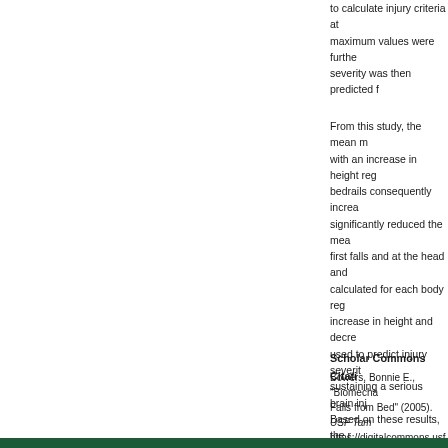to calculate injury criteria at maximum values were further severity was then predicted f
From this study, the mean m with an increase in height reg bedrails consequently increa significantly reduced the mea first falls and at the head an calculated for each body reg increase in height and decre used to predict injury severit sustaining a serious brain inj Based on these results, the r to the lowest available positi bedrails to decrease the risk
Scholar Commons Citati
Bowers, Bonnie E., "Biomecha Falls from Bed" (2005). USF Tam https://digitalcommons.usf.ed